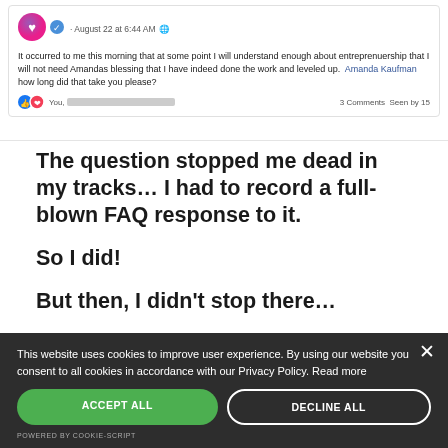[Figure (screenshot): Facebook/social media post screenshot. Post text: 'It occurred to me this morning that at some point I will understand enough about entrepreneurship that I will not need Amandas blessing that I have indeed done the work and leveled up. Amanda Kaufman how long did that take you please?' Footer shows reactions (heart, like icons), 'You,' with redacted names, '3 Comments Seen by 15'. Header shows avatar, checkmark icon, 'August 22 at 6:44 AM' with globe icon.]
The question stopped me dead in my tracks… I had to record a full-blown FAQ response to it.
So I did!
But then, I didn't stop there…
I realized that my…
This website uses cookies to improve user experience. By using our website you consent to all cookies in accordance with our Privacy Policy. Read more